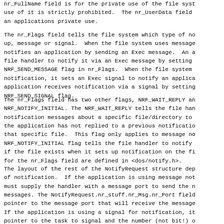nr_FullName field is for the private use of the file system; use of it is strictly prohibited.  The nr_UserData field is an applications private use.
The nr_Flags field tells the file system which type of notification, wake up, message or signal.  When the file system uses message notification, it notifies an application by sending an Exec message.  An application requests the file handler to notify it via an Exec message by setting the NRF_SEND_MESSAGE flag in nr_Flags.  When the file system uses signal type notification, it sets an Exec signal to notify an application.  An application requests notification via a signal by setting the NRF_SEND_SIGNAL flag.
The nr_Flags field has two other flags, NRF_WAIT_REPLY and NRF_NOTIFY_INITIAL. The NRF_WAIT_REPLY tells the file handler not to send notification messages about a specific file/directory to the application while the application has not replied to a previous notification message it sent about that specific file.  This flag only applies to message notifications.  The NRF_NOTIFY_INITIAL flag tells the file handler to notify the application immediately if the file exists when it sets up notification on the file.  All the flags for the nr_Flags field are defined in <dos/notify.h>.
The layout of the rest of the NotifyRequest structure depends on the type of notification.  If the application is using message notification, the application must supply the handler with a message port to send the notification messages. The NotifyRequest.nr_stuff.nr_Msg.nr_Port field should be a pointer to the message port that will receive the message notifications. If the application is using a signal for notification, it must supply a pointer to the task to signal and the number (not bit!) of the signal.  In this case, the NotifyRequest.nr_stuff.nr_Signal.nr_Task